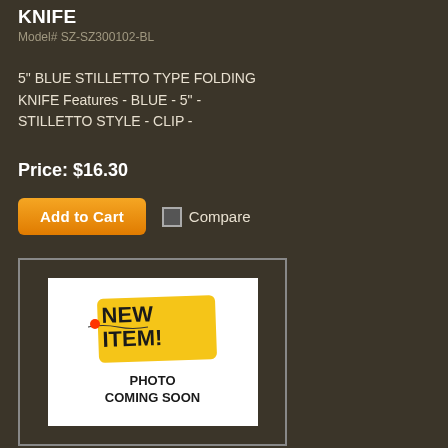KNIFE
Model# SZ-SZ300102-BL
5" BLUE STILLETTO TYPE FOLDING KNIFE Features - BLUE - 5" - STILLETTO STYLE - CLIP -
Price: $16.30
Add to Cart  Compare
[Figure (illustration): Product placeholder image showing a 'NEW ITEM! PHOTO COMING SOON' tag on white background inside a dark bordered box]